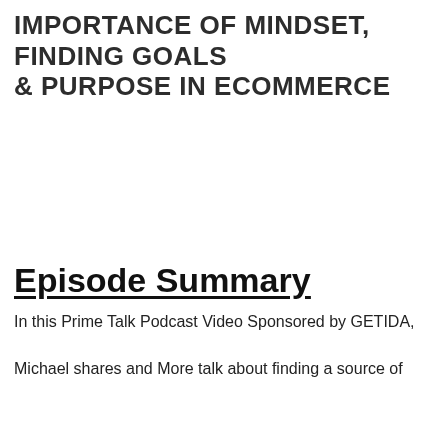IMPORTANCE OF MINDSET, FINDING GOALS & PURPOSE IN ECOMMERCE
Episode Summary
In this Prime Talk Podcast Video Sponsored by GETIDA, Michael shares and More talk about finding a source of